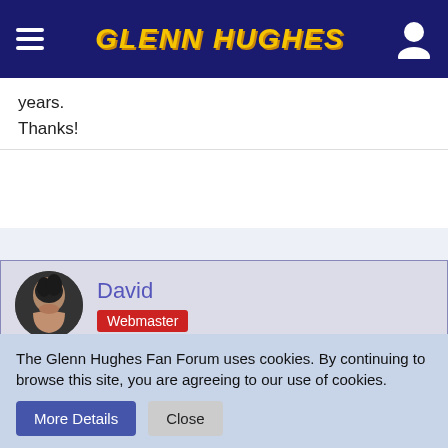GLENN HUGHES
years.
Thanks!
David
Webmaster
Jan 13th 2013
Quote from bluebassman
Does anyone know where I could purchase a copy of 'N BETWEEN TIMES by the late Keith Farley?
The Glenn Hughes Fan Forum uses cookies. By continuing to browse this site, you are agreeing to our use of cookies.